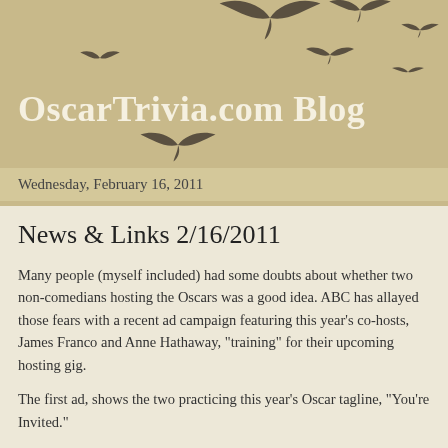[Figure (illustration): Decorative silhouettes of flying birds scattered across a sandy beige background header area]
OscarTrivia.com Blog
Wednesday, February 16, 2011
News & Links 2/16/2011
Many people (myself included) had some doubts about whether two non-comedians hosting the Oscars was a good idea. ABC has allayed those fears with a recent ad campaign featuring this year's co-hosts, James Franco and Anne Hathaway, "training" for their upcoming hosting gig.
The first ad, shows the two practicing this year's Oscar tagline, "You're Invited."